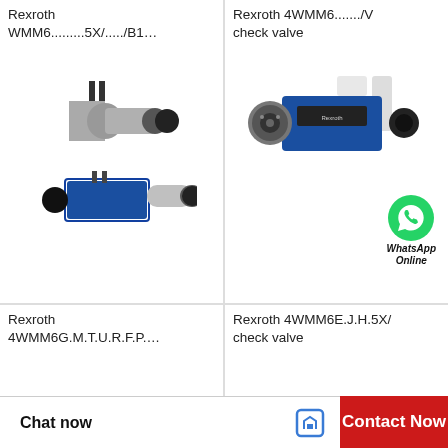Rexroth WMM6.........5X/...../B1…
[Figure (photo): Two Rexroth hydraulic directional control valves (WMM6 series) shown stacked - one silver/chrome solenoid valve on top and one blue body valve below]
Rexroth 4WMM6......./V check valve
[Figure (photo): Rexroth 4WMM6 check valve - blue body with solenoid actuator and WhatsApp Online contact badge]
Rexroth 4WMM6G.M.T.U.R.F.P....
Rexroth 4WMM6E.J.H.5X/ check valve
[Figure (photo): Partial view of Rexroth valve at bottom left]
[Figure (photo): Partial view of Rexroth valve at bottom right]
Chat now
Contact Now